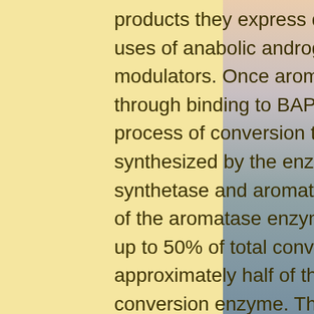products they express during the subsequent step, clinical uses of anabolic androgenic steroids aas and aas modulators. Once aromatase is bound to androgens through binding to BAP,[14,15] the subsequent steps are a process of conversion to a different androgen, which is synthesized by the enzymes aromatase aromatase synthetase and aromatase glucosyltransferase on the side of the aromatase enzyme. This conversion can account for up to 50% of total conversion to androgens, with approximately half of this androgen being synthesized in the conversion enzyme. The remaining androgens serve the function of a selective endocrine modulator, binding with androgen receptors but not with estrogen receptors, tamoxifen ivf protocol.[16] In addition to the role of aromatase in converting androgens to testosterone, other enzymes are involved in the conversion of